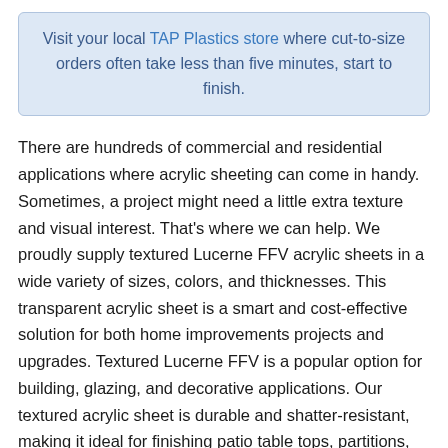Visit your local TAP Plastics store where cut-to-size orders often take less than five minutes, start to finish.
There are hundreds of commercial and residential applications where acrylic sheeting can come in handy. Sometimes, a project might need a little extra texture and visual interest. That’s where we can help. We proudly supply textured Lucerne FFV acrylic sheets in a wide variety of sizes, colors, and thicknesses. This transparent acrylic sheet is a smart and cost-effective solution for both home improvements projects and upgrades. Textured Lucerne FFV is a popular option for building, glazing, and decorative applications. Our textured acrylic sheet is durable and shatter-resistant, making it ideal for finishing patio table tops, partitions, privacy panels, shower doors, glazed windows, and so much more. Transparent acrylic sheets provide high light transmission while simultaneously